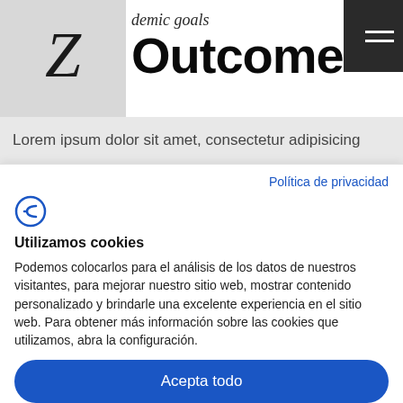academic goals
Outcome
Lorem ipsum dolor sit amet, consectetur adipisicing
Política de privacidad
[Figure (logo): Cookie consent logo icon - stylized C/F letter in blue]
Utilizamos cookies
Podemos colocarlos para el análisis de los datos de nuestros visitantes, para mejorar nuestro sitio web, mostrar contenido personalizado y brindarle una excelente experiencia en el sitio web. Para obtener más información sobre las cookies que utilizamos, abra la configuración.
Acepta todo
Rechaza
No, ajuste